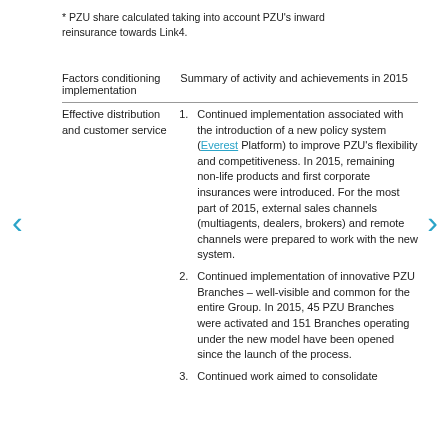* PZU share calculated taking into account PZU's inward reinsurance towards Link4.
| Factors conditioning implementation | Summary of activity and achievements in 2015 |
| --- | --- |
| Effective distribution and customer service | 1. Continued implementation associated with the introduction of a new policy system (Everest Platform) to improve PZU's flexibility and competitiveness. In 2015, remaining non-life products and first corporate insurances were introduced. For the most part of 2015, external sales channels (multiagents, dealers, brokers) and remote channels were prepared to work with the new system.
2. Continued implementation of innovative PZU Branches – well-visible and common for the entire Group. In 2015, 45 PZU Branches were activated and 151 Branches operating under the new model have been opened since the launch of the process.
3. Continued work aimed to consolidate |